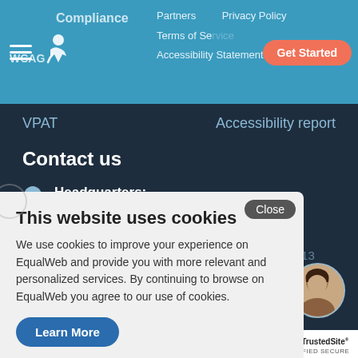Partners | Privacy Policy | Compliance | Terms of Service | WCAG | Accessibility Statement | Get Started
VPAT
Accessibility report
Contact us
Headquarters: Menachem Begin 44 Kfar Yona, Israel
USA Address: 447 Broadway 2nd Fl. #339 New York, NY 10013
[Figure (screenshot): Cookie consent popup overlay with title 'This website uses cookies', body text about EqualWeb cookies policy, a Close button, and a Learn More button]
This website uses cookies
We use cookies to improve your experience on EqualWeb and provide you with more relevant and personalized services. By continuing to browse on EqualWeb you agree to our use of cookies.
[Figure (photo): Circular avatar photo of a person]
[Figure (logo): TrustedSite Certified Secure badge]